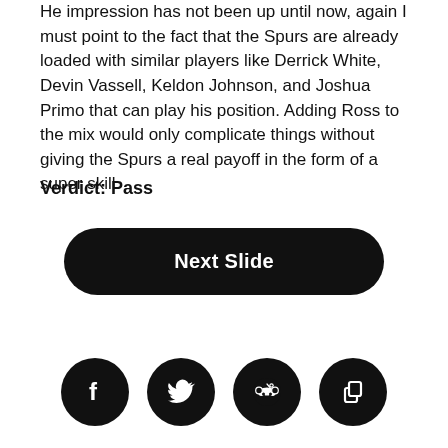He impression has not been up until now, again I must point to the fact that the Spurs are already loaded with similar players like Derrick White, Devin Vassell, Keldon Johnson, and Joshua Primo that can play his position. Adding Ross to the mix would only complicate things without giving the Spurs a real payoff in the form of a super skill.
Verdict: Pass
[Figure (other): Black rounded rectangle button labeled 'Next Slide' in white bold text]
[Figure (other): Four black circular social media share icons: Facebook, Twitter, Reddit, and Copy/Share]